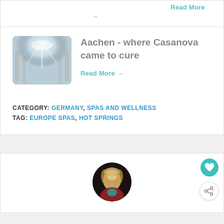Read More →
[Figure (photo): Interior of an ornate cathedral or church with bright light streaming from above, chandeliers visible]
Aachen - where Casanova came to cure
Read More →
CATEGORY: GERMANY, SPAS AND WELLNESS
TAG: EUROPE SPAS, HOT SPRINGS
[Figure (photo): Circular avatar photo of a blonde woman in a red jacket, smiling]